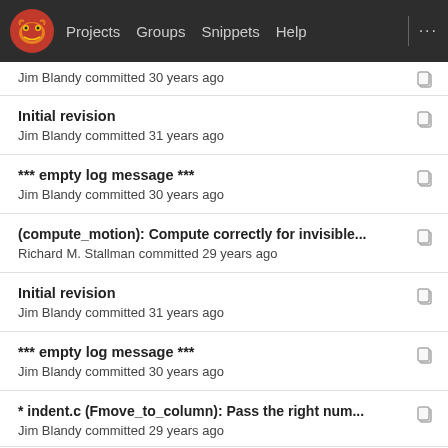Projects  Groups  Snippets  Help
Jim Blandy committed 30 years ago
Initial revision
Jim Blandy committed 31 years ago
*** empty log message ***
Jim Blandy committed 30 years ago
(compute_motion): Compute correctly for invisible...
Richard M. Stallman committed 29 years ago
Initial revision
Jim Blandy committed 31 years ago
*** empty log message ***
Jim Blandy committed 30 years ago
* indent.c (Fmove_to_column): Pass the right num...
Jim Blandy committed 29 years ago